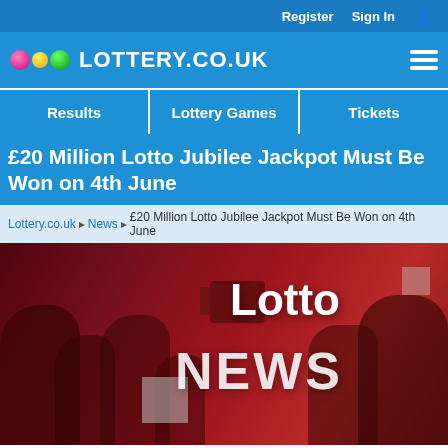Register  Sign In
[Figure (logo): Lottery.co.uk logo with coloured balls (pink, yellow, green) and white text on blue background, hamburger menu icon on right]
Results  Lottery Games  Tickets
£20 Million Lotto Jubilee Jackpot Must Be Won on 4th June
Lottery.co.uk > News > £20 Million Lotto Jubilee Jackpot Must Be Won on 4th June
[Figure (photo): Lotto News hero banner image with crowd of camera operators in red-tinted monochrome, white text reading 'Lotto NEWS']
A special Lotto draw will take place on Saturday 4th June to mark the